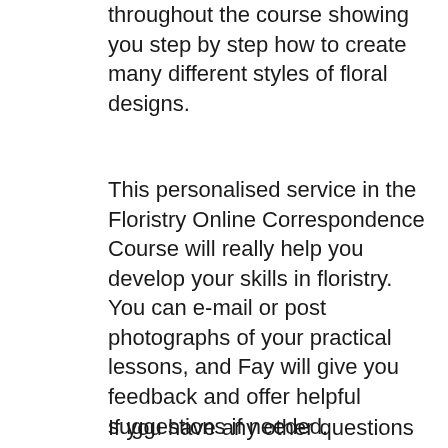throughout the course showing you step by step how to create many different styles of floral designs.
This personalised service in the Floristry Online Correspondence Course will really help you develop your skills in floristry.
You can e-mail or post photographs of your practical lessons, and Fay will give you feedback and offer helpful suggestions if needed.
If you have any other questions during the course, Fay will be happy to answer them for you.